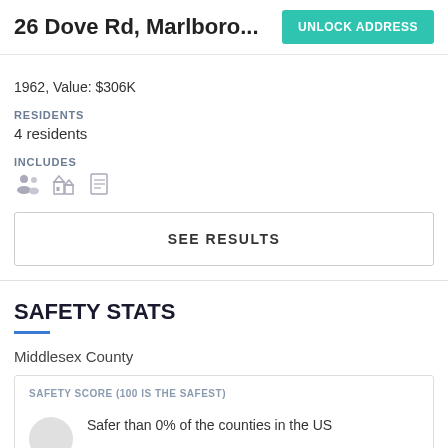26 Dove Rd, Marlboro...
1962, Value: $306K
RESIDENTS
4 residents
INCLUDES
[Figure (illustration): Three small icons representing people/residents, neighborhood/buildings, and a report/document]
SEE RESULTS
SAFETY STATS
Middlesex County
SAFETY SCORE (100 IS THE SAFEST)
Safer than 0% of the counties in the US